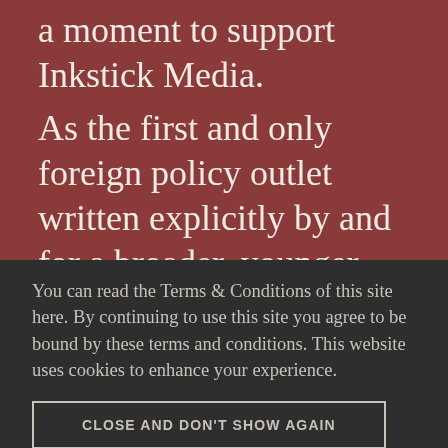a moment to support Inkstick Media.
As the first and only foreign policy outlet written explicitly by and for a broader, younger, and more diverse audience, Inkstick offers new views on the big, emergent questions and
You can read the Terms & Conditions of this site here. By continuing to use this site you agree to be bound by these terms and conditions. This website uses cookies to enhance your experience.
CLOSE AND DON'T SHOW AGAIN